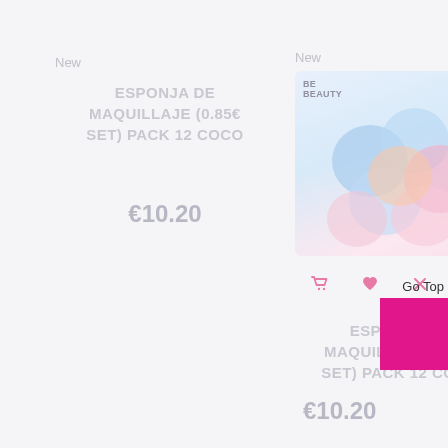New
ESPONJA DE MAQUILLAJE (0.85€ SET) PACK 12 COCO
€10.20
New
[Figure (photo): Product card showing colorful round makeup sponges (blue, pink, peach) with action icons: cart, heart, X, eye]
ESPONJA DE MAQUILLAJE (0.85€ SET) PACK 12 COCO
Go Top
€10.20